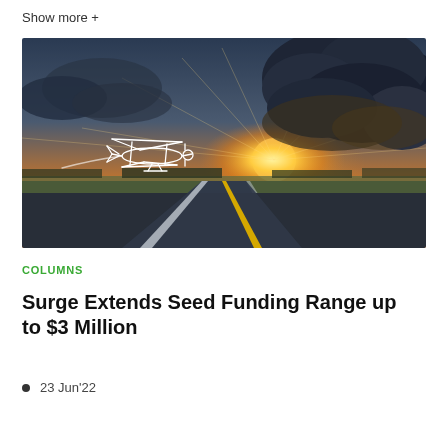Show more +
[Figure (photo): Runway at sunset with dramatic clouds, golden sun on the horizon, and a white outline illustration of a biplane flying in the sky]
COLUMNS
Surge Extends Seed Funding Range up to $3 Million
23 Jun'22